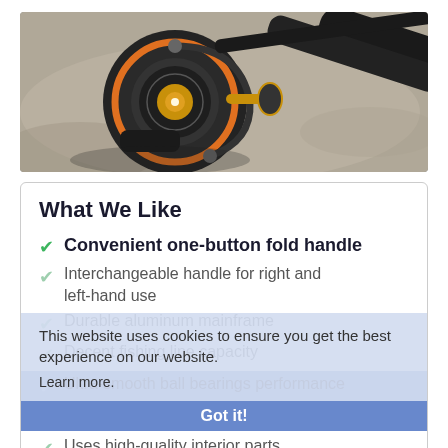[Figure (photo): Photo of a black and orange fishing reel with a rod on a concrete surface]
What We Like
Convenient one-button fold handle
Interchangeable handle for right and left-hand use
Durable aluminum mainframe
Decent fishing line capacity
Ultra-smooth ball bearings performance
Uses high-quality interior parts
Versatile for different fishing applications